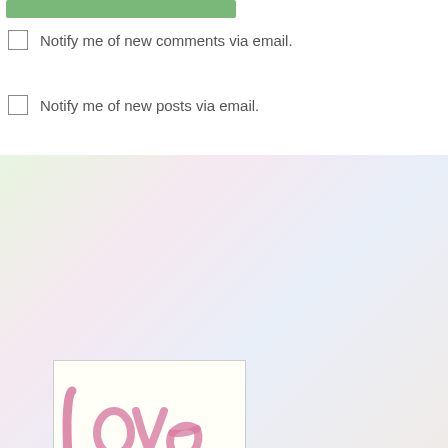[Figure (other): Green submit/action button bar at top of page]
Notify me of new comments via email.
Notify me of new posts via email.
[Figure (illustration): Watercolor painting of the word 'Love' written in pink cursive lettering on a white/cream background with pink brushstroke underline]
[Figure (illustration): Watercolor painting of blue flowers (pansies or similar) with green leaves on a white background, painted in loose watercolor style]